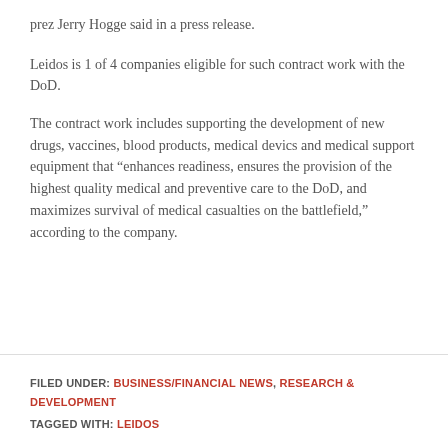prez Jerry Hogge said in a press release.
Leidos is 1 of 4 companies eligible for such contract work with the DoD.
The contract work includes supporting the development of new drugs, vaccines, blood products, medical devics and medical support equipment that "enhances readiness, ensures the provision of the highest quality medical and preventive care to the DoD, and maximizes survival of medical casualties on the battlefield," according to the company.
FILED UNDER: BUSINESS/FINANCIAL NEWS, RESEARCH & DEVELOPMENT
TAGGED WITH: LEIDOS